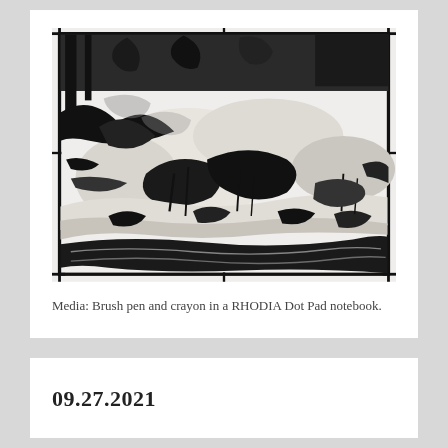[Figure (illustration): A black and white sketch drawing made with brush pen and crayon, depicting a natural outdoor landscape scene with rocks, water, and vegetation. The drawing is expressive with bold strokes and has a hand-drawn border with tick marks at the corners and edges.]
Media: Brush pen and crayon in a RHODIA Dot Pad notebook.
09.27.2021